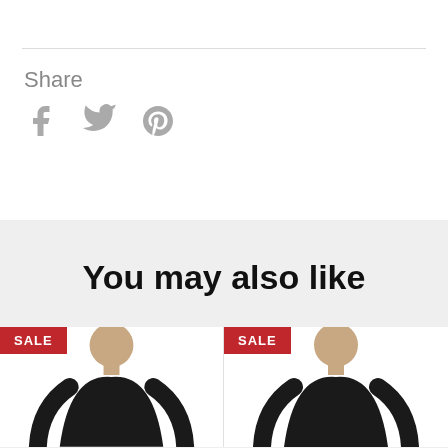Share
[Figure (illustration): Social media share icons: Facebook (f), Twitter (bird), Pinterest (p) in gray]
You may also like
[Figure (photo): Product card with SALE badge and photo of person wearing black long-sleeve shirt (left)]
[Figure (photo): Product card with SALE badge and photo of person wearing black long-sleeve shirt (right)]